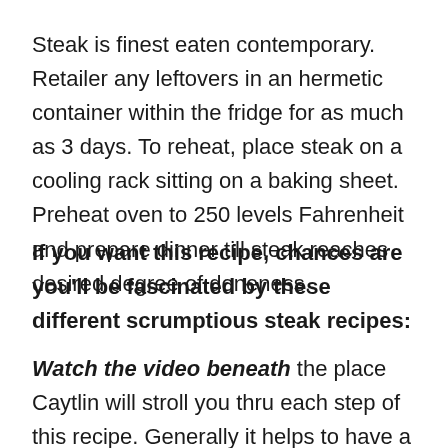Steak is finest eaten contemporary. Retailer any leftovers in an hermetic container within the fridge for as much as 3 days. To reheat, place steak on a cooling rack sitting on a baking sheet. Preheat oven to 250 levels Fahrenheit and prepare dinner till steak reaches desired degree of doneness.
If you want this recipe, chances are you'll be fascinated by these different scrumptious steak recipes:
Watch the video beneath the place Caytlin will stroll you thru each step of this recipe. Generally it helps to have a visible, and we've at all times obtained you lined with our cooking present. You